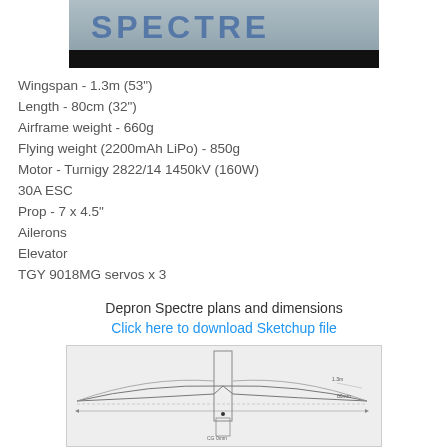[Figure (photo): Top image showing partial text logo on a blue/grey sky background with a black bar below]
Wingspan - 1.3m (53")
Length - 80cm (32")
Airframe weight - 660g
Flying weight (2200mAh LiPo) - 850g
Motor - Turnigy 2822/14 1450kV (160W)
30A ESC
Prop - 7 x 4.5"
Ailerons
Elevator
TGY 9018MG servos x 3
Depron Spectre plans and dimensions
Click here to download Sketchup file
[Figure (engineering-diagram): Top-view engineering plan/dimension drawing of the Depron Spectre aircraft showing wingspan and length measurements]